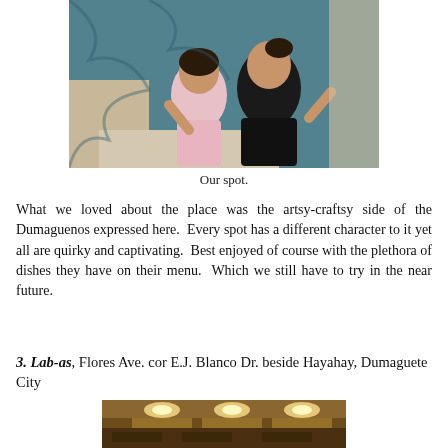[Figure (photo): Two people (a young girl and a woman) posing with peace signs at a restaurant table, with decorative teal/blue fabric backdrop]
Our spot.
What we loved about the place was the artsy-craftsy side of the Dumaguenos expressed here.  Every spot has a different character to it yet all are quirky and captivating.  Best enjoyed of course with the plethora of dishes they have on their menu.  Which we still have to try in the near future.
3. Lab-as, Flores Ave. cor E.J. Blanco Dr. beside Hayahay, Dumaguete City
[Figure (photo): Interior of a restaurant with warm lighting and ceiling lights visible]